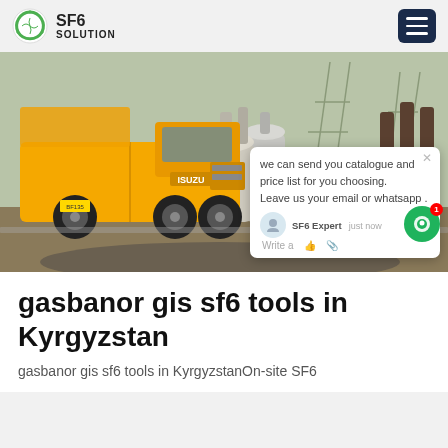SF6 SOLUTION
[Figure (photo): Yellow Isuzu truck parked at an electrical substation with high-voltage equipment and transmission towers in the background. A live chat popup overlay is visible in the lower right of the image, with an SF6China watermark.]
gasbanor gis sf6 tools in Kyrgyzstan
gasbanor gis sf6 tools in KyrgyzstanOn-site SF6